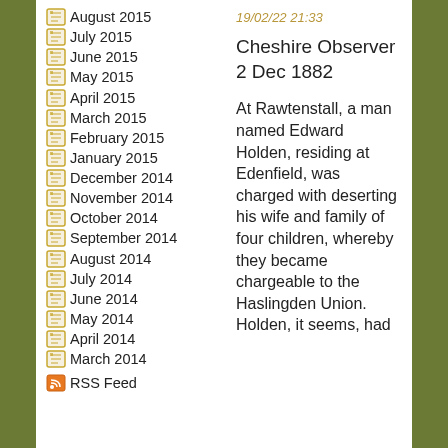August 2015
July 2015
June 2015
May 2015
April 2015
March 2015
February 2015
January 2015
December 2014
November 2014
October 2014
September 2014
August 2014
July 2014
June 2014
May 2014
April 2014
March 2014
RSS Feed
19/02/22 21:33
Cheshire Observer 2 Dec 1882
At Rawtenstall, a man named Edward Holden, residing at Edenfield, was charged with deserting his wife and family of four children, whereby they became chargeable to the Haslingden Union. Holden, it seems, had